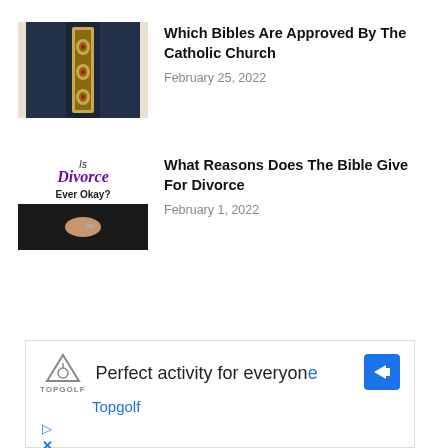[Figure (photo): Close-up photo of an ornate Bible cover with golden decorative elements and red gemstones on a dark background]
Which Bibles Are Approved By The Catholic Church
February 25, 2022
[Figure (photo): Book cover or image showing text 'Is Divorce Ever Okay?' with a photo of hands below]
What Reasons Does The Bible Give For Divorce
February 1, 2022
[Figure (infographic): Advertisement for Topgolf: 'Perfect activity for everyone' with Topgolf logo and blue arrow icon]